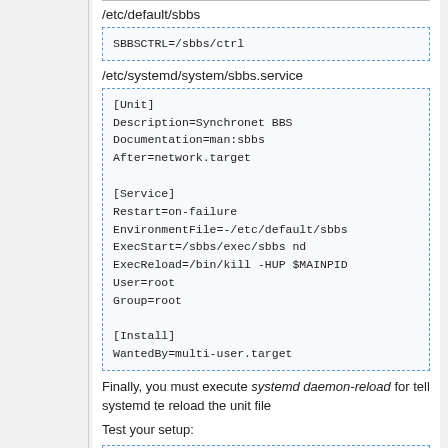/etc/default/sbbs
SBBSCTRL=/sbbs/ctrl
/etc/systemd/system/sbbs.service
[Unit]
Description=Synchronet BBS
Documentation=man:sbbs
After=network.target

[Service]
Restart=on-failure
EnvironmentFile=-/etc/default/sbbs
ExecStart=/sbbs/exec/sbbs nd
ExecReload=/bin/kill -HUP $MAINPID
User=root
Group=root

[Install]
WantedBy=multi-user.target
Finally, you must execute systemd daemon-reload for tell systemd te reload the unit file
Test your setup:
# systemctl status sbbs